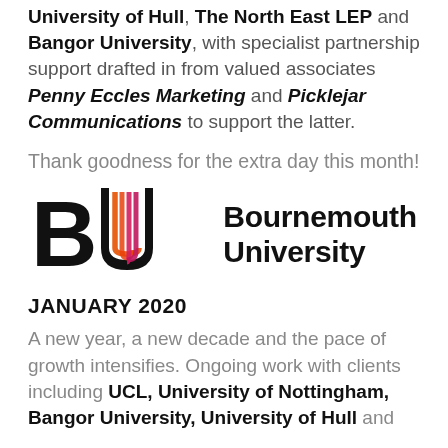University of Hull, The North East LEP and Bangor University, with specialist partnership support drafted in from valued associates Penny Eccles Marketing and Picklejar Communications to support the latter.
Thank goodness for the extra day this month!
[Figure (logo): Bournemouth University logo with BU monogram in orange/red gradient and bold black text reading Bournemouth University]
JANUARY 2020
A new year, a new decade and the pace of growth intensifies. Ongoing work with clients including UCL, University of Nottingham, Bangor University, University of Hull and